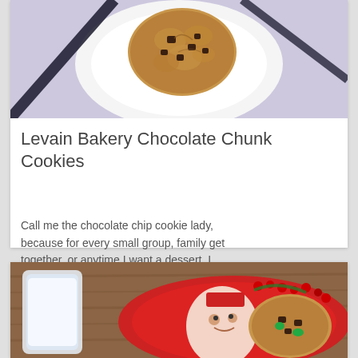[Figure (photo): Overhead photo of a large chocolate chunk cookie on a white plate against a purple/lavender background with a dark ribbon or fabric]
Levain Bakery Chocolate Chunk Cookies
Call me the chocolate chip cookie lady, because for every small group, family get together, or anytime I want a dessert, I …
[Figure (photo): Photo of a chocolate chip cookie on a decorative red Christmas plate with holly design, next to a glass of milk, on a wooden surface]